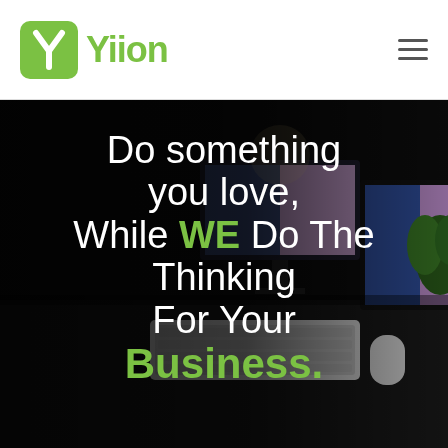[Figure (logo): Yiion logo: green rounded square with white Y icon, followed by green bold text 'Yiion']
[Figure (photo): Dark photo of a computer desk setup with multiple monitors showing colorful wallpapers, keyboard, mouse, and a plant in the background]
Do something you love, While WE Do The Thinking For Your Business.